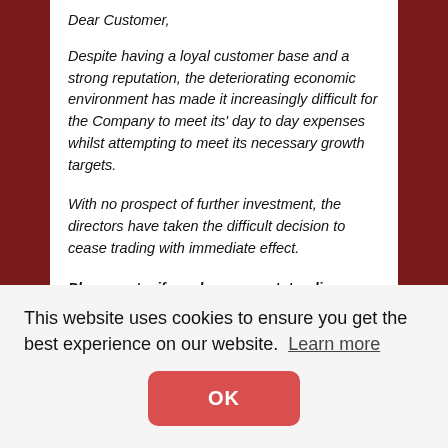Dear Customer,
Despite having a loyal customer base and a strong reputation, the deteriorating economic environment has made it increasingly difficult for the Company to meet its' day to day expenses whilst attempting to meet its necessary growth targets.
With no prospect of further investment, the directors have taken the difficult decision to cease trading with immediate effect.
Please note, if you have an outstanding order you will receive a full refund.
We would like to thank our customers for all of their
This website uses cookies to ensure you get the best experience on our website. Learn more
OK
proposed Liquidation, please contact PKF GM at